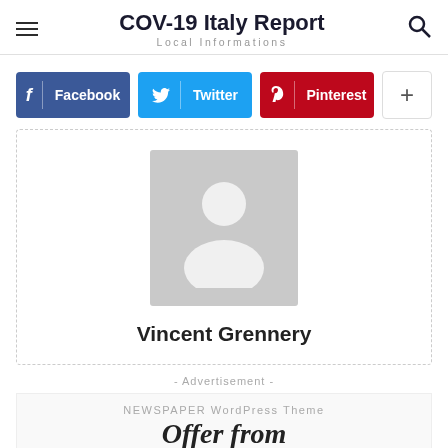COV-19 Italy Report
Local Informations
[Figure (screenshot): Social media share buttons: Facebook (blue), Twitter (cyan), Pinterest (red), and a plus button]
[Figure (photo): Author profile card with grey placeholder avatar and name Vincent Grennery]
Vincent Grennery
- Advertisement -
NEWSPAPER WordPress Theme
Offer from